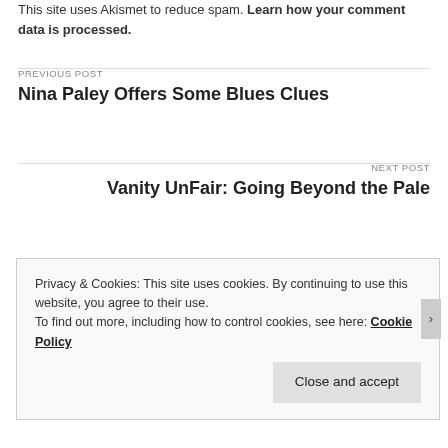This site uses Akismet to reduce spam. Learn how your comment data is processed.
PREVIOUS POST
Nina Paley Offers Some Blues Clues
NEXT POST
Vanity UnFair: Going Beyond the Pale
Privacy & Cookies: This site uses cookies. By continuing to use this website, you agree to their use.
To find out more, including how to control cookies, see here: Cookie Policy
Close and accept